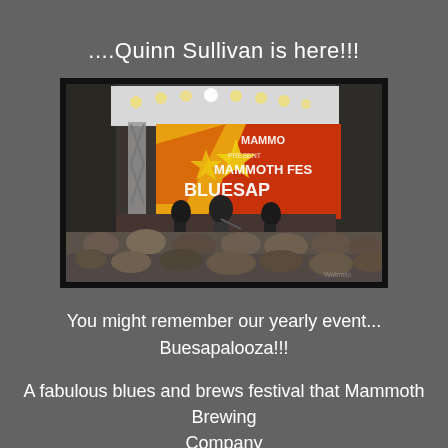....Quinn Sullivan is here!!!
[Figure (photo): Outdoor concert stage with a large colorful banner reading 'Mammoth Fest Bluesap...' (Bluesapalooza), with musicians performing on stage and a crowd watching from below. Stage has lighting rigs and truss structure.]
You might remember our yearly event...
Buesapalooza!!!
A fabulous blues and brews festival that Mammoth Brewing Company